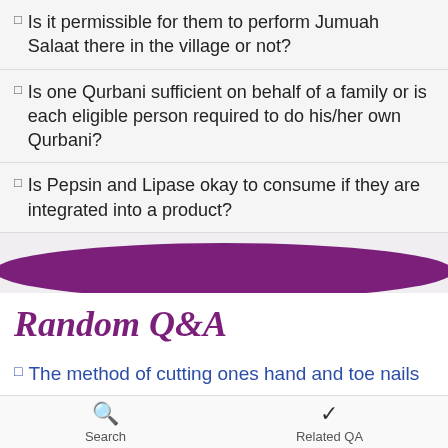Is it permissible for them to perform Jumuah Salaat there in the village or not?
Is one Qurbani sufficient on behalf of a family or is each eligible person required to do his/her own Qurbani?
Is Pepsin and Lipase okay to consume if they are integrated into a product?
Random Q&A
The method of cutting ones hand and toe nails
My wife wants a percentage of my house in case of
Search    Related QA